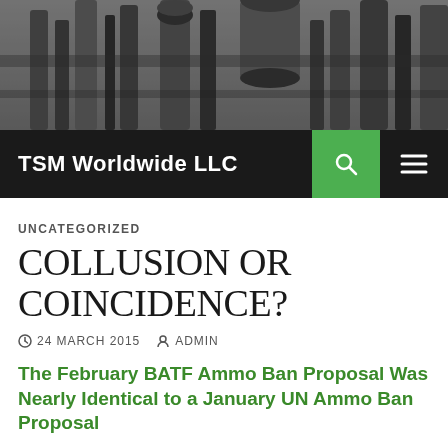[Figure (photo): Black and white header photo of industrial machinery/pipes in a factory or plant setting]
TSM Worldwide LLC
UNCATEGORIZED
COLLUSION OR COINCIDENCE?
24 MARCH 2015   ADMIN
The February BATF Ammo Ban Proposal Was Nearly Identical to a January UN Ammo Ban Proposal
Jeff Moran | Geneva